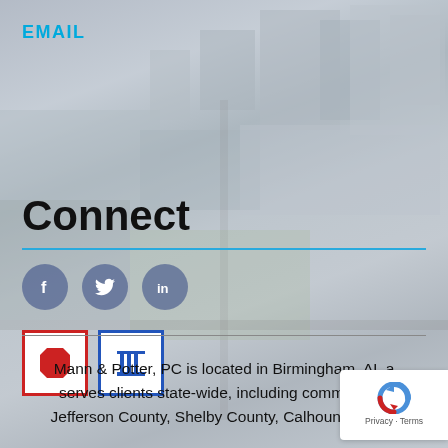EMAIL
Connect
[Figure (illustration): Aerial city photograph of Birmingham, AL used as background, rendered in muted grey-blue tones]
[Figure (infographic): Three circular social media icons in dark blue-grey: Facebook (f), Twitter/X bird, LinkedIn (in)]
[Figure (logo): Two badge icons side by side: a red-bordered box containing a red octagon shape, and a blue-bordered box containing a blue column/pillar icon]
Mann & Potter, PC is located in Birmingham, AL and serves clients state-wide, including communities in Jefferson County, Shelby County, Calhoun County,
[Figure (logo): Google reCAPTCHA badge in bottom-right corner showing reCAPTCHA logo with Privacy and Terms links]